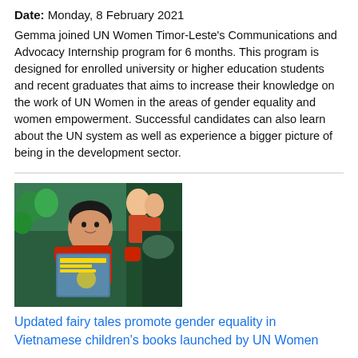Date: Monday, 8 February 2021
Gemma joined UN Women Timor-Leste's Communications and Advocacy Internship program for 6 months. This program is designed for enrolled university or higher education students and recent graduates that aims to increase their knowledge on the work of UN Women in the areas of gender equality and women empowerment. Successful candidates can also learn about the UN system as well as experience a bigger picture of being in the development sector.
[Figure (photo): A child in a red jacket reading a book, with a market/store scene in the background featuring other people in red jackets.]
Updated fairy tales promote gender equality in Vietnamese children's books launched by UN Women
Date: Tuesday, 20 October 2020
Innovative modern fairy tale picture books on gender equality for children were launched in Viet Nam on Tuesday, in a publishing first for the country. The books were launched by UN Women and Orchi